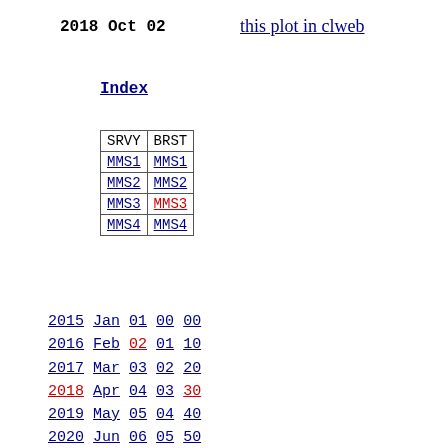2018 Oct 02
this plot in clweb
Index
| SRVY | BRST |
| --- | --- |
| MMS1 | MMS1 |
| MMS2 | MMS2 |
| MMS3 | MMS3 |
| MMS4 | MMS4 |
2015 Jan 01 00 00
2016 Feb 02 01 10
2017 Mar 03 02 20
2018 Apr 04 03 30
2019 May 05 04 40
2020 Jun 06 05 50
2021 Jul 07 06
2022 Aug 08 07
Sep 09 08
Oct 10 09